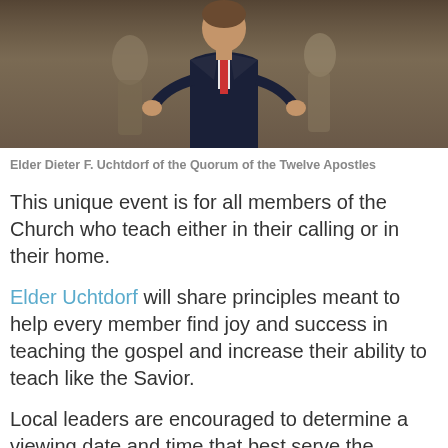[Figure (photo): Elder Dieter F. Uchtdorf of the Quorum of the Twelve Apostles standing and gesturing with his hands, wearing a dark suit and red tie, in front of a painting backdrop.]
Elder Dieter F. Uchtdorf of the Quorum of the Twelve Apostles
This unique event is for all members of the Church who teach either in their calling or in their home.
Elder Uchtdorf will share principles meant to help every member find joy and success in teaching the gospel and increase their ability to teach like the Savior.
Local leaders are encouraged to determine a viewing date and time that best serve the Church members in their area. Teacher